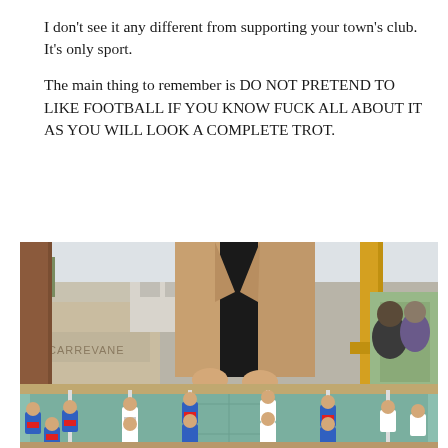I don't see it any different from supporting your town's club. It's only sport.
The main thing to remember is DO NOT PRETEND TO LIKE FOOTBALL IF YOU KNOW FUCK ALL ABOUT IT AS YOU WILL LOOK A COMPLETE TROT.
[Figure (photo): A person in a beige blazer and dark shirt stands over a foosball table outdoors, with graffiti-covered walls and yellow posts visible in the background.]